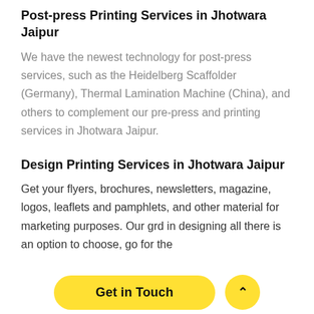Post-press Printing Services in Jhotwara Jaipur
We have the newest technology for post-press services, such as the Heidelberg Scaffolder (Germany), Thermal Lamination Machine (China), and others to complement our pre-press and printing services in Jhotwara Jaipur.
Design Printing Services in Jhotwara Jaipur
Get your flyers, brochures, newsletters, magazine, logos, leaflets and pamphlets, and other material for marketing purposes. Our gr... in designing all... there is an option to choose, go for the